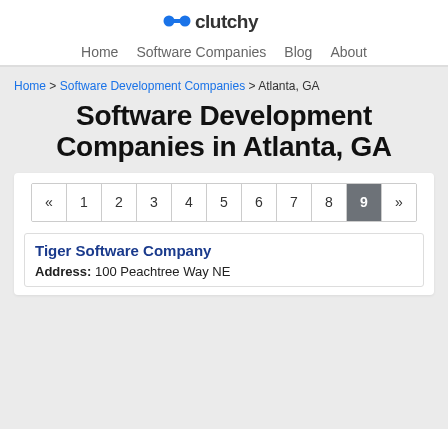[Figure (logo): Clutchy logo with blue dumbbell icon and stylized text]
Home   Software Companies   Blog   About
Home > Software Development Companies > Atlanta, GA
Software Development Companies in Atlanta, GA
« 1 2 3 4 5 6 7 8 9 »
Tiger Software Company
Address: 100 Peachtree Way NE